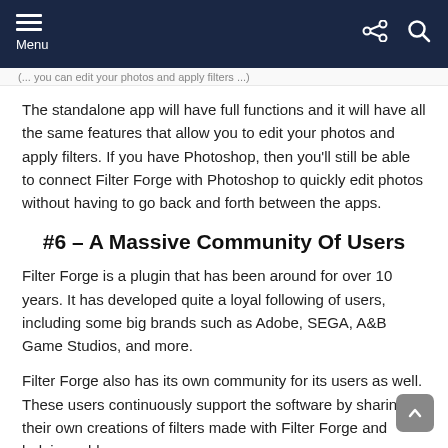Menu
(page navigation/breadcrumb text — clipped)
The standalone app will have full functions and it will have all the same features that allow you to edit your photos and apply filters. If you have Photoshop, then you'll still be able to connect Filter Forge with Photoshop to quickly edit photos without having to go back and forth between the apps.
#6 – A Massive Community Of Users
Filter Forge is a plugin that has been around for over 10 years. It has developed quite a loyal following of users, including some big brands such as Adobe, SEGA, A&B Game Studios, and more.
Filter Forge also has its own community for its users as well. These users continuously support the software by sharing their own creations of filters made with Filter Forge and helping add